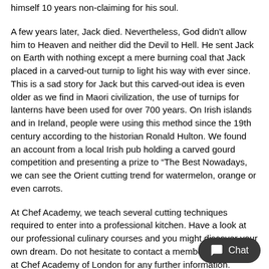himself 10 years non-claiming for his soul.
A few years later, Jack died. Nevertheless, God didn't allow him to Heaven and neither did the Devil to Hell. He sent Jack on Earth with nothing except a mere burning coal that Jack placed in a carved-out turnip to light his way with ever since. This is a sad story for Jack but this carved-out idea is even older as we find in Maori civilization, the use of turnips for lanterns have been used for over 700 years. On Irish islands and in Ireland, people were using this method since the 19th century according to the historian Ronald Hulton. We found an account from a local Irish pub holding a carved gourd competition and presenting a prize to “The Best Nowadays, we can see the Orient cutting trend for watermelon, orange or even carrots.
At Chef Academy, we teach several cutting techniques required to enter into a professional kitchen. Have a look at our professional culinary courses and you might discover your own dream. Do not hesitate to contact a member of staff here at Chef Academy of London for any further information. Anyone would be delighted to answer to your questions.